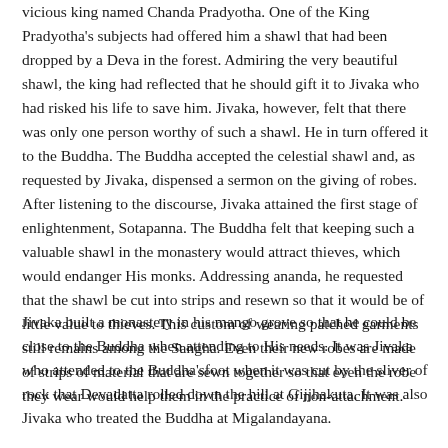vicious king named Chanda Pradyotha. One of the King Pradyotha's subjects had offered him a shawl that had been dropped by a Deva in the forest. Admiring the very beautiful shawl, the king had reflected that he should gift it to Jivaka who had risked his life to save him. Jivaka, however, felt that there was only one person worthy of such a shawl. He in turn offered it to the Buddha. The Buddha accepted the celestial shawl and, as requested by Jivaka, dispensed a sermon on the giving of robes. After listening to the discourse, Jivaka attained the first stage of enlightenment, Sotapanna. The Buddha felt that keeping such a valuable shawl in the monastery would attract thieves, which would endanger His monks. Addressing ananda, he requested that the shawl be cut into strips and resewn so that it would be of little value to thieves. This custom of wearing patched garments still remains among the Sangha. Even their new robes are made of strips of material that are sewn together so that even the robe they wear would help them in the practice of non-attachment.
Jivaka built a monastery in his mango grove so that he could be close to the Buddha when attending to His needs. It was Jivaka who attended to the Buddha'sfoot when it was cut by the sliver of rock that Devadatta rolled down the hill at Gijjhakuta. It was also Jivaka who treated the Buddha at Migalandayana.